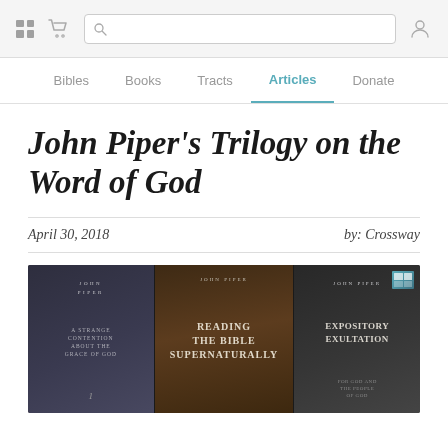[Figure (screenshot): Website navigation top bar with grid icon, cart icon, search box, and user icon on a light grey background]
Bibles   Books   Tracts   Articles   Donate
John Piper's Trilogy on the Word of God
April 30, 2018    by: Crossway
[Figure (photo): Three John Piper books arranged side by side on a dark background: a dark spine book on the left, 'Reading the Bible Supernaturally' in the center, and 'Expository Exultation' on the right]